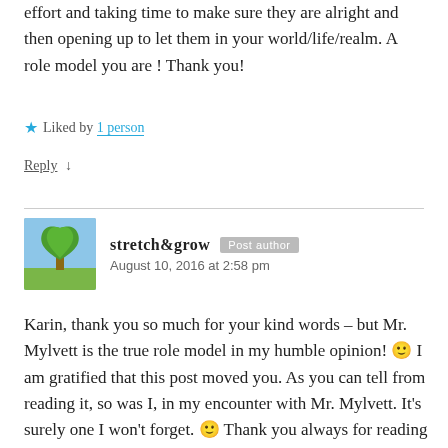effort and taking time to make sure they are alright and then opening up to let them in your world/life/realm. A role model you are ! Thank you!
★ Liked by 1 person
Reply ↓
stretch&grow | Post author | August 10, 2016 at 2:58 pm
Karin, thank you so much for your kind words – but Mr. Mylvett is the true role model in my humble opinion! 🙂 I am gratified that this post moved you. As you can tell from reading it, so was I, in my encounter with Mr. Mylvett. It's surely one I won't forget. 🙂 Thank you always for reading and supporting!